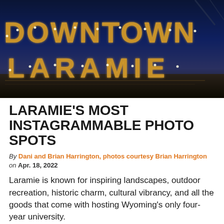[Figure (photo): Night photo of large illuminated marquee-style letters reading 'DOWNTOWN LARAMIE' with warm golden light bulbs against a dark blue evening sky]
LARAMIE'S MOST INSTAGRAMMABLE PHOTO SPOTS
By Dani and Brian Harrington, photos courtesy Brian Harrington on Apr. 18, 2022
Laramie is known for inspiring landscapes, outdoor recreation, historic charm, cultural vibrancy, and all the goods that come with hosting Wyoming's only four-year university.